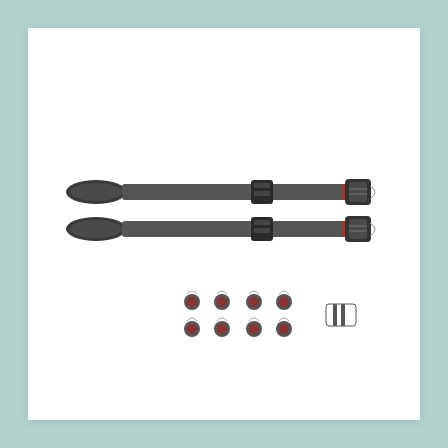[Figure (photo): Product photo of a black camera or bag shoulder strap shown in two configurations (extended/laid flat), with adjustable buckles and quick-release clips with red accents visible. Below the straps are four anchor attachment studs and one small buckle accessory, all displayed on a white background with a light teal/mint border.]